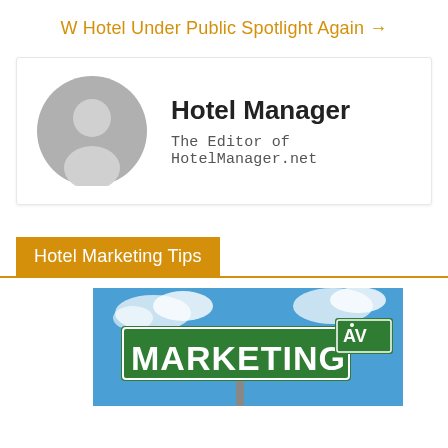W Hotel Under Public Spotlight Again →
[Figure (illustration): Author avatar placeholder — gray circle with silhouette of a person]
Hotel Manager
The Editor of HotelManager.net
Hotel Marketing Tips
[Figure (photo): Street sign reading MARKETING AV against a blue sky background]